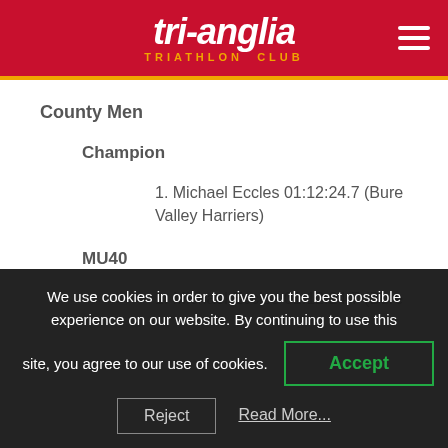tri-anglia TRIATHLON CLUB
County Men
Champion
1. Michael Eccles 01:12:24.7 (Bure Valley Harriers)
MU40
1. Michael Eccles 01:12:24.7 (Bure
We use cookies in order to give you the best possible experience on our website. By continuing to use this site, you agree to our use of cookies.
Accept
Reject
Read More...